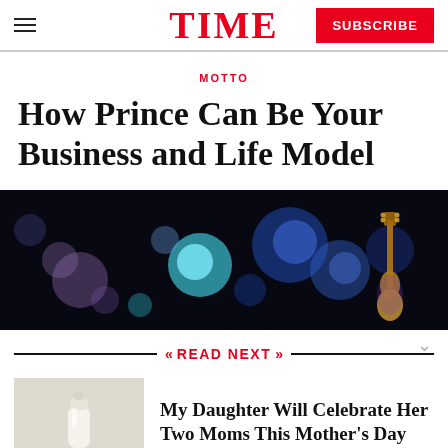TIME  SUBSCRIBE
MOTTO
How Prince Can Be Your Business and Life Model
[Figure (photo): Dark concert photo with colorful bokeh lights (blue, teal, purple) and a guitar visible on the right side against a black background]
READ NEXT
[Figure (photo): Thumbnail image showing a baby bottle on a light background]
My Daughter Will Celebrate Her Two Moms This Mother's Day